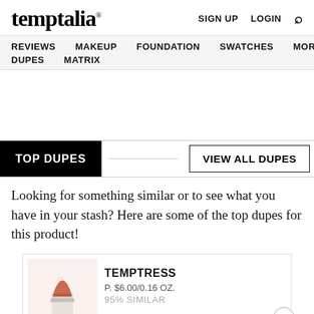temptalia® SIGN UP LOGIN 🔍
REVIEWS MAKEUP FOUNDATION SWATCHES MORE DUPES MATRIX
TOP DUPES | VIEW ALL DUPES
Looking for something similar or to see what you have in your stash? Here are some of the top dupes for this product!
| Product | Name | Price | Similarity |
| --- | --- | --- | --- |
| [lipstick image] | TEMPTRESS | P. $6.00/0.16 OZ. | 95% SIMILAR |